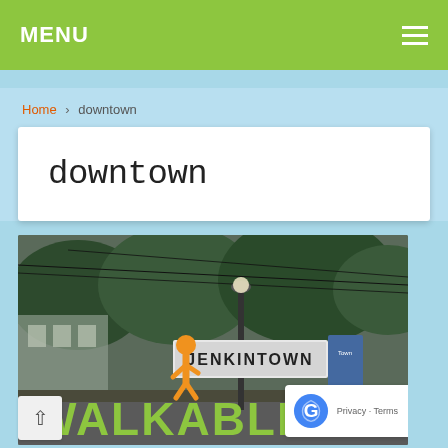MENU
Home > downtown
downtown
[Figure (photo): Outdoor photo showing a Jenkintown street sign with an orange walking figure and 'WALKABLE JENKINTOWN' text in green letters, with street lamps and trees in the background.]